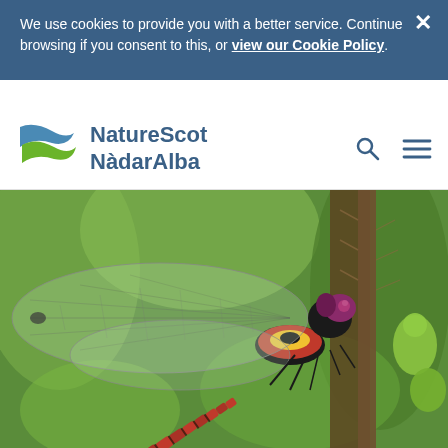We use cookies to provide you with a better service. Continue browsing if you consent to this, or view our Cookie Policy.
[Figure (logo): NatureScot NàdarAlba logo with blue and green swoosh/leaf shapes]
[Figure (photo): Close-up macro photograph of a large red damselfly (dragonfly) perched on a green plant stem, with detailed wing venation visible, against a blurred green background]